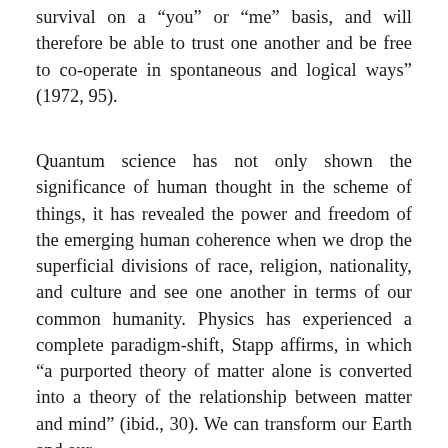survival on a “you” or “me” basis, and will therefore be able to trust one another and be free to co-operate in spontaneous and logical ways” (1972, 95).
Quantum science has not only shown the significance of human thought in the scheme of things, it has revealed the power and freedom of the emerging human coherence when we drop the superficial divisions of race, religion, nationality, and culture and see one another in terms of our common humanity. Physics has experienced a complete paradigm-shift, Stapp affirms, in which “a purported theory of matter alone is converted into a theory of the relationship between matter and mind” (ibid., 30). We can transform our Earth and our